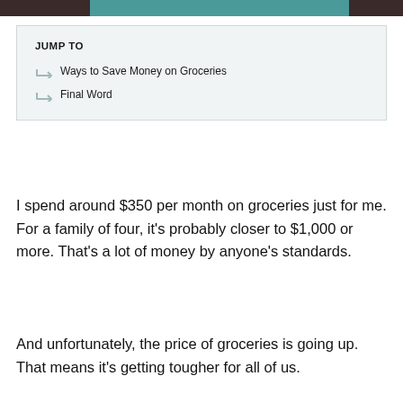JUMP TO
Ways to Save Money on Groceries
Final Word
I spend around $350 per month on groceries just for me. For a family of four, it's probably closer to $1,000 or more. That's a lot of money by anyone's standards.
And unfortunately, the price of groceries is going up. That means it's getting tougher for all of us.